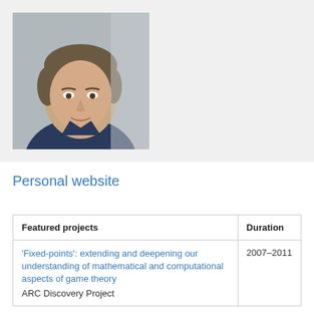[Figure (photo): Headshot photograph of a middle-aged man with brown/grey hair, wearing a dark blue collared shirt, photographed against a grey background.]
Personal website
| Featured projects | Duration |
| --- | --- |
| 'Fixed-points': extending and deepening our understanding of mathematical and computational aspects of game theory
ARC Discovery Project | 2007–2011 |